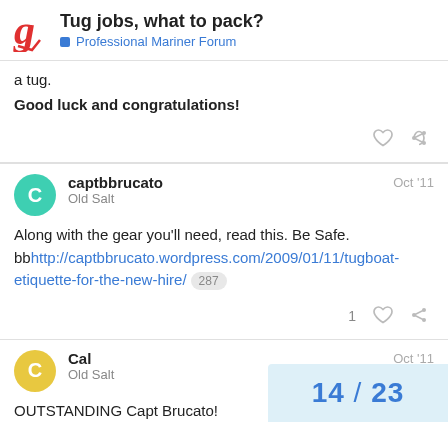Tug jobs, what to pack? | Professional Mariner Forum
a tug.
Good luck and congratulations!
captbbrucato Oct '11
Old Salt
Along with the gear you'll need, read this. Be Safe.
bbhttp://captbbrucato.wordpress.com/2009/01/11/tugboat-etiquette-for-the-new-hire/ 287
Cal Oct '11
Old Salt
OUTSTANDING Capt Brucato!